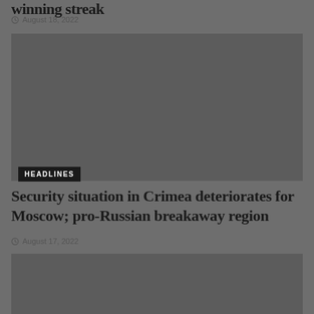winning streak
August 18, 2022
[Figure (photo): Image placeholder for winning streak article]
HEADLINES
Security situation in Crimea deteriorates for Moscow; pro-Russian breakaway region
August 17, 2022
[Figure (photo): Image placeholder for Crimea article]